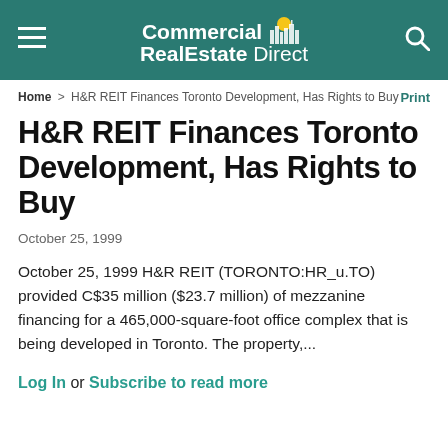Commercial RealEstate Direct
Home > H&R REIT Finances Toronto Development, Has Rights to Buy   Print
H&R REIT Finances Toronto Development, Has Rights to Buy
October 25, 1999
October 25, 1999 H&R REIT (TORONTO:HR_u.TO) provided C$35 million ($23.7 million) of mezzanine financing for a 465,000-square-foot office complex that is being developed in Toronto. The property,...
Log In or Subscribe to read more